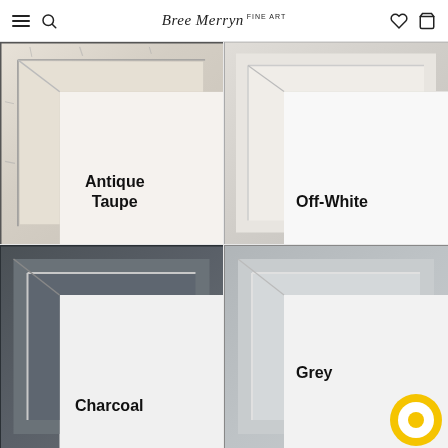Bree Merryn Fine Art
[Figure (photo): Corner sample of a distressed white/cream picture frame labeled Antique Taupe]
[Figure (photo): Corner sample of a clean off-white picture frame labeled Off-White]
[Figure (photo): Corner sample of a dark charcoal grey picture frame labeled Charcoal]
[Figure (photo): Corner sample of a medium grey picture frame labeled Grey, with a yellow chat bubble icon in the corner]